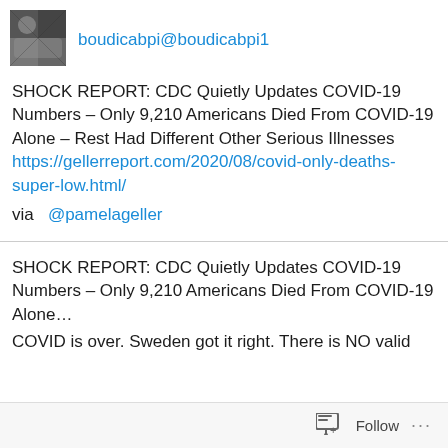[Figure (photo): User avatar image showing a portrait/profile picture]
boudicabpi@boudicabpi1
SHOCK REPORT: CDC Quietly Updates COVID-19 Numbers – Only 9,210 Americans Died From COVID-19 Alone – Rest Had Different Other Serious Illnesses https://gellerreport.com/2020/08/covid-only-deaths-super-low.html/
via  @pamelageller
SHOCK REPORT: CDC Quietly Updates COVID-19 Numbers – Only 9,210 Americans Died From COVID-19 Alone…
COVID is over. Sweden got it right. There is NO valid